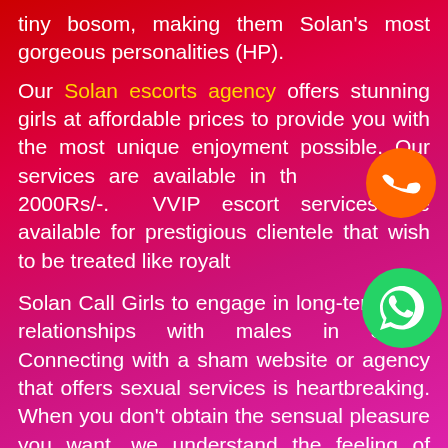tiny bosom, making them Solan's most gorgeous personalities (HP).
Our Solan escorts agency offers stunning girls at affordable prices to provide you with the most unique enjoyment possible. Our services are available in the a for 2000Rs/-. VVIP escort services are available for prestigious clientele that wish to be treated like royalty.
Solan Call Girls to engage in long-term love relationships with males in Solan. Connecting with a sham website or agency that offers sexual services is heartbreaking. When you don't obtain the sensual pleasure you want, we understand the feeling of betrayal. By booking with the epitome of physical closeness, you may get rid of the emotional trauma and annoyance.
[Figure (illustration): Orange phone call icon (circle with handset)]
[Figure (illustration): Green WhatsApp icon (circle with phone handset)]